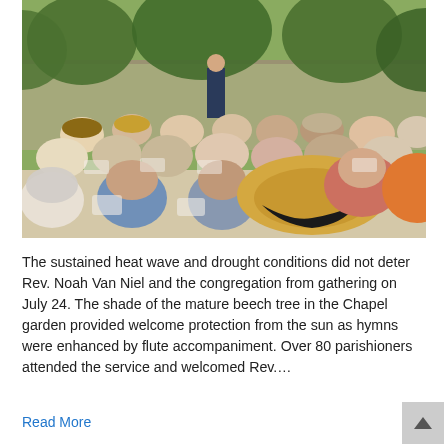[Figure (photo): Outdoor church service in a garden setting. Rows of people seated in white folding chairs, viewed from behind, facing a speaker/minister standing at the front. Many attendees wear hats including a prominent wide-brimmed straw hat with a black ribbon in the foreground. Trees and a stone wall are visible in the background. Summer garden setting.]
The sustained heat wave and drought conditions did not deter Rev. Noah Van Niel and the congregation from gathering on July 24. The shade of the mature beech tree in the Chapel garden provided welcome protection from the sun as hymns were enhanced by flute accompaniment. Over 80 parishioners attended the service and welcomed Rev.…
Read More